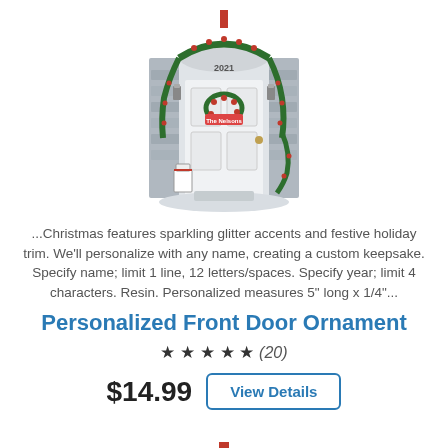[Figure (photo): A personalized front door Christmas ornament decorated with holly, berries, garland, and a wreath. The door reads '2021' at the top and has a customizable name banner. A red ribbon hanger at top, gift bag to the side, and snow at the base.]
...Christmas features sparkling glitter accents and festive holiday trim. We'll personalize with any name, creating a custom keepsake. Specify name; limit 1 line, 12 letters/spaces. Specify year; limit 4 characters. Resin. Personalized measures 5" long x 1/4"...
Personalized Front Door Ornament
★ ★ ★ ★ ★ (20)
$14.99  View Details